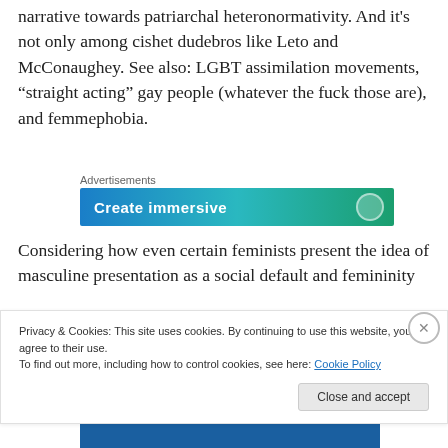narrative towards patriarchal heteronormativity. And it's not only among cishet dudebros like Leto and McConaughey. See also: LGBT assimilation movements, “straight acting” gay people (whatever the fuck those are), and femmephobia.
[Figure (screenshot): Advertisement banner with gradient blue-green background and text 'Create immersive' partially visible, with a circle icon on the right]
Considering how even certain feminists present the idea of masculine presentation as a social default and femininity
Privacy & Cookies: This site uses cookies. By continuing to use this website, you agree to their use.
To find out more, including how to control cookies, see here: Cookie Policy
Close and accept